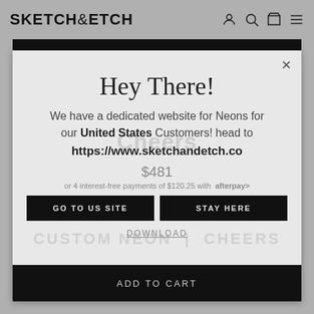SKETCH&ETCH
[Figure (screenshot): Website modal popup on sketchandetch.com showing a geo-redirect dialog]
Hey There!
We have a dedicated website for Neons for our United States Customers! head to https://www.sketchandetch.co
$481
or 4 interest-free payments of $120.25 with afterpay
GO TO US SITE
STAY HERE
DOWNLOAD
ADD TO CART